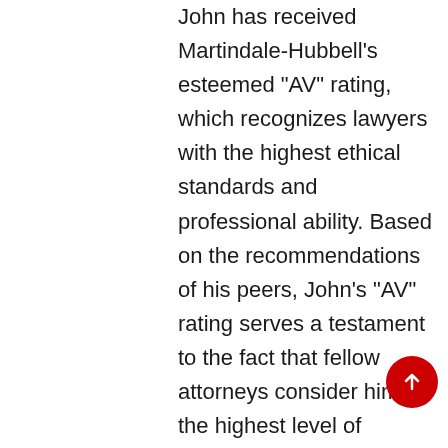John has received Martindale-Hubbell's esteemed "AV" rating, which recognizes lawyers with the highest ethical standards and professional ability. Based on the recommendations of his peers, John's "AV" rating serves a testament to the fact that fellow attorneys consider him at the highest level of professional excellence. Only a select group of attorneys are ever awarded this premier distinction.

John has reached another career milestone when he has proudly released his books titled "You Can't Teach Hungry...Creating the Multimillion Dollar Law Firm," and "You Can't Teach Vision...The Twenty-First Century Law Firm" on which he